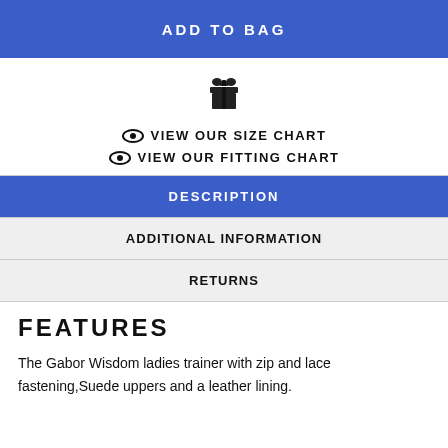ADD TO BAG
[Figure (illustration): Gift box icon in black]
VIEW OUR SIZE CHART
VIEW OUR FITTING CHART
DESCRIPTION
ADDITIONAL INFORMATION
RETURNS
FEATURES
The Gabor Wisdom ladies trainer with zip and lace fastening,Suede uppers and a leather lining.